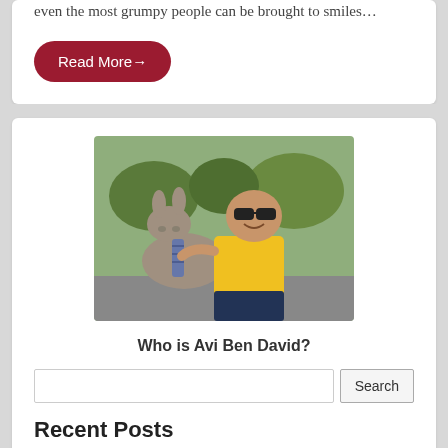even the most grumpy people can be brought to smiles…
Read More→
[Figure (photo): A man in a yellow polo shirt and sunglasses hugging a donkey wearing a striped tie, outdoors with trees in the background.]
Who is Avi Ben David?
Search
Recent Posts